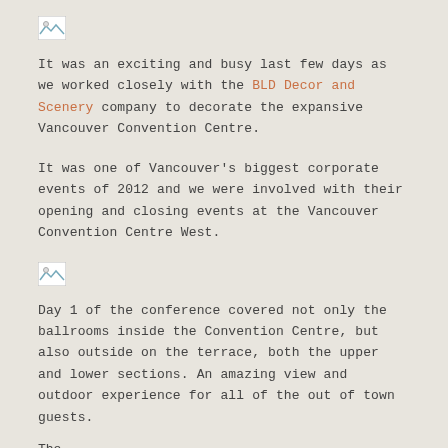[Figure (photo): Small broken/placeholder image icon at top left]
It was an exciting and busy last few days as we worked closely with the BLD Decor and Scenery company to decorate the expansive Vancouver Convention Centre.
It was one of Vancouver's biggest corporate events of 2012 and we were involved with their opening and closing events at the Vancouver Convention Centre West.
[Figure (photo): Small broken/placeholder image icon in the middle of the page]
Day 1 of the conference covered not only the ballrooms inside the Convention Centre, but also outside on the terrace, both the upper and lower sections. An amazing view and outdoor experience for all of the out of town guests.
The ...  (truncated at bottom of page)